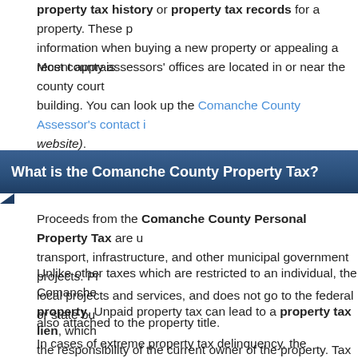property tax history or property tax records for a property. These p... information when buying a new property or appealing a recent apprais...
Most county assessors' offices are located in or near the county court... building. You can look up the Comanche County Assessor's contact i... website).
What is the Comanche County Property Tax?
Proceeds from the Comanche County Personal Property Tax are u... transport, infrastructure, and other municipal government projects. Pr... local projects and services, and does not go to the federal or state bu...
Unlike other taxes which are restricted to an individual, the Comanche... property. Unpaid property tax can lead to a property tax lien, which... the responsibility of the current owner of the property. Tax liens are no... property, or even filing for bankruptcy. Property tax delinquency can r... also attached to the property title.
In cases of extreme property tax delinquency, the Comanche County... and offer it for sale at a public tax foreclosure auction, often at a p...